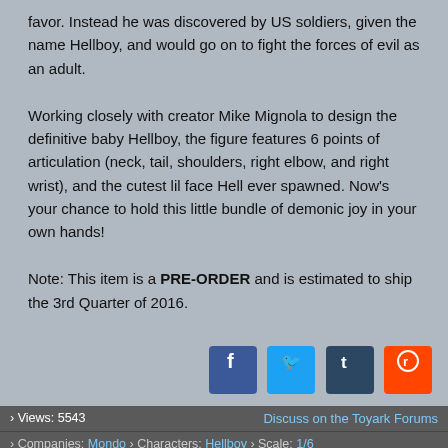favor. Instead he was discovered by US soldiers, given the name Hellboy, and would go on to fight the forces of evil as an adult.
Working closely with creator Mike Mignola to design the definitive baby Hellboy, the figure features 6 points of articulation (neck, tail, shoulders, right elbow, and right wrist), and the cutest lil face Hell ever spawned. Now's your chance to hold this little bundle of demonic joy in your own hands!
Note: This item is a PRE-ORDER and is estimated to ship the 3rd Quarter of 2016.
[Figure (infographic): Social sharing icons: Facebook (blue), Twitter (light blue), Tumblr (dark blue), Reddit (orange)]
› Views: 5543    Discuss on the Toyark Forums
› Companies: Mondo › Characters: Hellboy › Scale: 1/6
Baby Hellboy Figure by Mondo - Additional Images
[Figure (photo): Mondo Baby Hellboy 001 - blank/white thumbnail]
[Figure (photo): Mondo Baby Hellboy 002 - photo of Baby Hellboy figure]
[Figure (photo): Mondo Baby Hellboy 003 - blank/white thumbnail]
[Figure (photo): Mondo Baby Hellboy 004 - photo of Baby Hellboy figure detail]
Mondo Baby Hellboy 001
Mondo Baby Hellboy 002
Mondo Baby Hellboy 003
Mondo Baby Hellboy 004